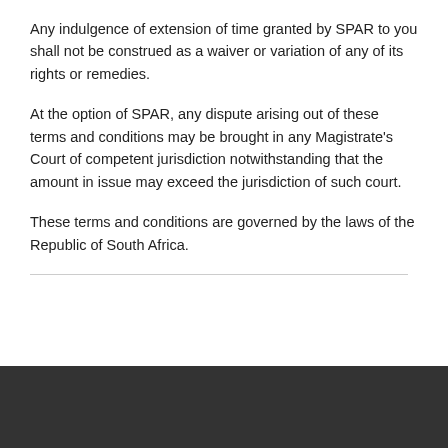Any indulgence of extension of time granted by SPAR to you shall not be construed as a waiver or variation of any of its rights or remedies.
At the option of SPAR, any dispute arising out of these terms and conditions may be brought in any Magistrate's Court of competent jurisdiction notwithstanding that the amount in issue may exceed the jurisdiction of such court.
These terms and conditions are governed by the laws of the Republic of South Africa.